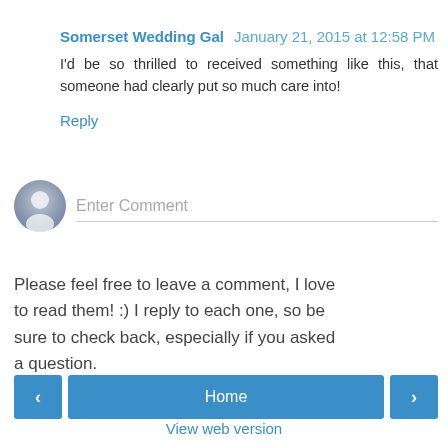Somerset Wedding Gal  January 21, 2015 at 12:58 PM
I'd be so thrilled to received something like this, that someone had clearly put so much care into!
Reply
[Figure (other): Comment input area with user avatar and 'Enter Comment' placeholder text field]
Please feel free to leave a comment, I love to read them! :) I reply to each one, so be sure to check back, especially if you asked a question.
Home
View web version
Powered by Blogger.